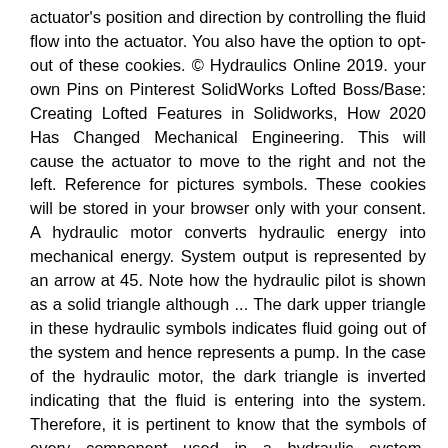actuator's position and direction by controlling the fluid flow into the actuator. You also have the option to opt-out of these cookies. © Hydraulics Online 2019. your own Pins on Pinterest SolidWorks Lofted Boss/Base: Creating Lofted Features in Solidworks, How 2020 Has Changed Mechanical Engineering. This will cause the actuator to move to the right and not the left. Reference for pictures symbols. These cookies will be stored in your browser only with your consent. A hydraulic motor converts hydraulic energy into mechanical energy. System output is represented by an arrow at 45. Note how the hydraulic pilot is shown as a solid triangle although ... The dark upper triangle in these hydraulic symbols indicates fluid going out of the system and hence represents a pump. In the case of the hydraulic motor, the dark triangle is inverted indicating that the fluid is entering into the system. Therefore, it is pertinent to know that the symbols of every component used in a hydraulic system. Reading fluids circuit diagrams - hydraulic & pneumatic symbols. This can be done through using a hydraulic cylinder which converts hydraulic energy into linear motion and work,